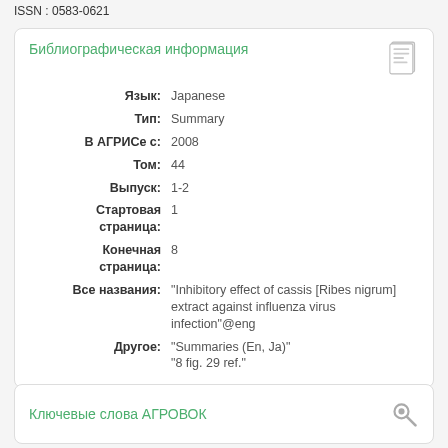ISSN : 0583-0621
Библиографическая информация
| Язык: | Japanese |
| Тип: | Summary |
| В АГРИСе с: | 2008 |
| Том: | 44 |
| Выпуск: | 1-2 |
| Стартовая страница: | 1 |
| Конечная страница: | 8 |
| Все названия: | "Inhibitory effect of cassis [Ribes nigrum] extract against influenza virus infection"@eng |
| Другое: | "Summaries (En, Ja)"
"8 fig. 29 ref." |
Ключевые слова АГРОВОК